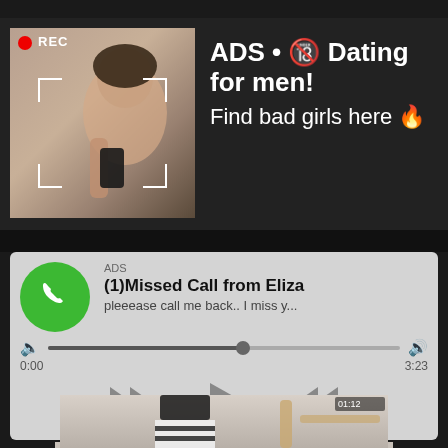[Figure (screenshot): Top strip dark background]
[Figure (photo): Ad 1: Dark background with a selfie photo of a woman with REC indicator and camera brackets]
ADS • 🔞 Dating for men! Find bad girls here 🔥
[Figure (screenshot): Ad 2: Fake missed call notification styled as audio player. Shows phone icon, ADS label, (1)Missed Call from Eliza, pleeease call me back.. I miss y..., progress bar at 55%, time 0:00 to 3:23, media controls (rewind, play, fast-forward)]
ADS
(1)Missed Call from Eliza
pleeease call me back.. I miss y...
0:00
3:23
[Figure (photo): Bottom partial photo showing a woman in black and white striped skirt near stairs]